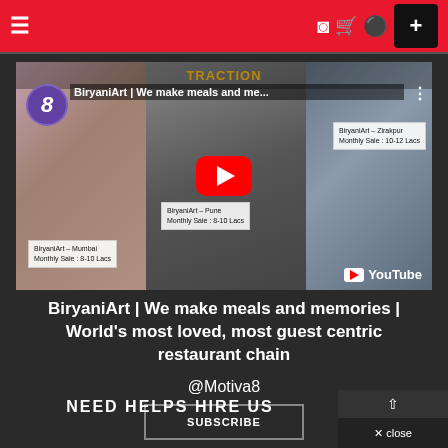Navigation bar with menu, icons, and + button
[Figure (screenshot): YouTube video thumbnail for BiryaniArt channel showing collage of restaurant images with play button, channel logo, video title 'BiryaniArt | We make meals and me...', sale labels for Mumbai (8-10 Lacs), Pune (8-10 Lacs), Zirakpur (10-12 Lacs), and YouTube watermark]
BiryaniArt | We make meals and memories | World's most loved, most guest centric restaurant chain
@Motiva8
SUBSCRIBE
NEED HELPS HIRE US